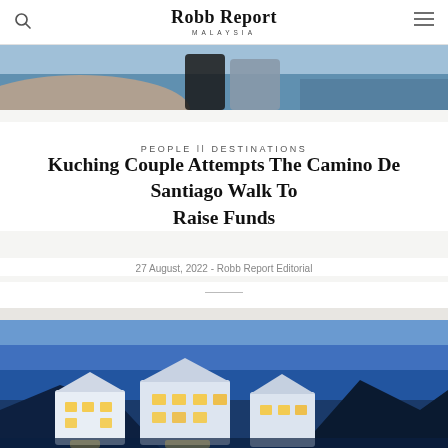Robb Report MALAYSIA
[Figure (photo): Partial view of a couple near water/ocean, cropped at top of page]
PEOPLE || DESTINATIONS
Kuching Couple Attempts The Camino De Santiago Walk To Raise Funds
27 August, 2022 - Robb Report Editorial
[Figure (photo): Night/dusk photo of illuminated white resort or hotel buildings with mountains in background and blue sky]